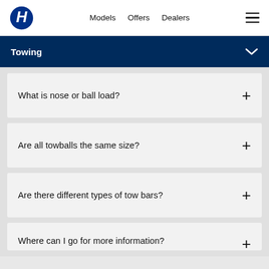Hyundai navigation bar with logo, Models, Offers, Dealers links and hamburger menu
Towing
What is nose or ball load?
Are all towballs the same size?
Are there different types of tow bars?
Where can I go for more information?